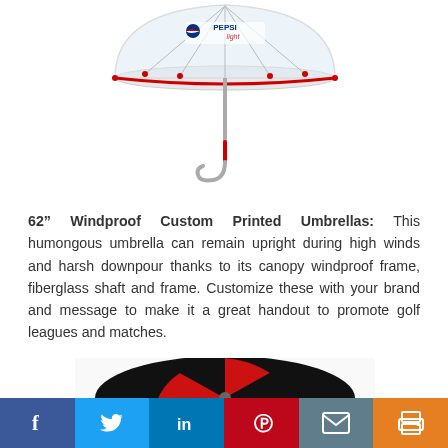[Figure (photo): Clear dome umbrella with Pepsi Light logo on canopy and red trim/handle, photographed from below on white background]
62” Windproof Custom Printed Umbrellas: This humongous umbrella can remain upright during high winds and harsh downpour thanks to its canopy windproof frame, fiberglass shaft and frame. Customize these with your brand and message to make it a great handout to promote golf leagues and matches.
[Figure (photo): Red and black alternating panel golf umbrella viewed from above/side, on white background]
[Figure (infographic): Social media share bar with Facebook, Twitter, LinkedIn, Pinterest, Email, and Print buttons]